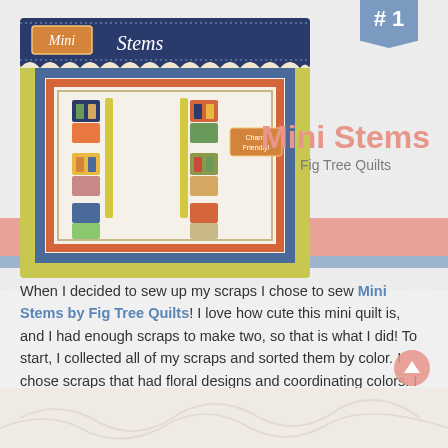[Figure (photo): Mini Stems quilt pattern book cover showing a colorful mini quilt with flower/stem design in greens, blues, and warm tones. Navy blue top banner reads 'Mini Stems' with a small label area. Quilt has leaf and tulip shapes on a light background with patterned border.]
Mini Stems
Fig Tree Quilts
When I decided to sew up my scraps I chose to sew Mini Stems by Fig Tree Quilts! I love how cute this mini quilt is, and I had enough scraps to make two, so that is what I did! To start, I collected all of my scraps and sorted them by color. I chose scraps that had floral designs and coordinating colors. I just need to bind my quilts and I will be done!
[Figure (photo): Bottom strip showing white/cream textured fabric, partially visible at bottom of page.]